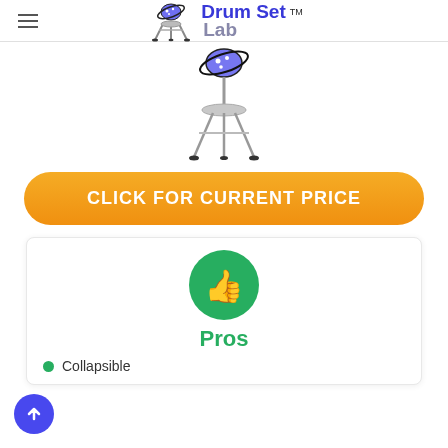[Figure (logo): Drum Set Lab logo with flask and drum stand icon, blue and gray text, TM mark]
[Figure (illustration): Drum cymbal stand illustration]
CLICK FOR CURRENT PRICE
Pros
Collapsible